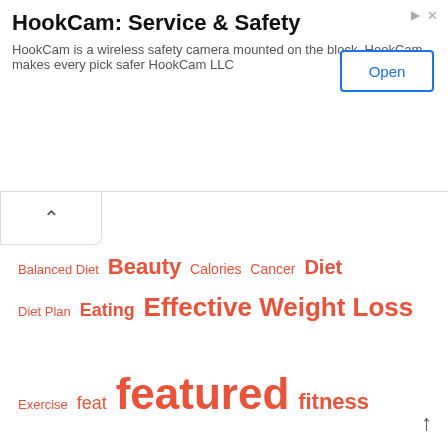[Figure (other): Advertisement banner for HookCam: Service & Safety with title, description text, and an Open button]
[Figure (infographic): Tag cloud of health and wellness related terms in various sizes, all in coral/orange-red color: Balanced Diet, Beauty, Calories, Cancer, Diet, Diet Plan, Eating, Effective Weight Loss, Exercise, feat, featured, fitness, Food, Fresh Fruits, Fresh Fruits And Vegetables, Fruits And Vegetables, Fruits Vegetables, Hcg Weight Loss, Health, Health Experts, Losing Weight, Lt, Massage, Mental health, Muscle, Natural Diet, Nbsp, Nutrition, Person To Person, Physical exercise, Physical fitness, Pregnancy, Pregnant Women, Skin, Sleep, spot, Stress]